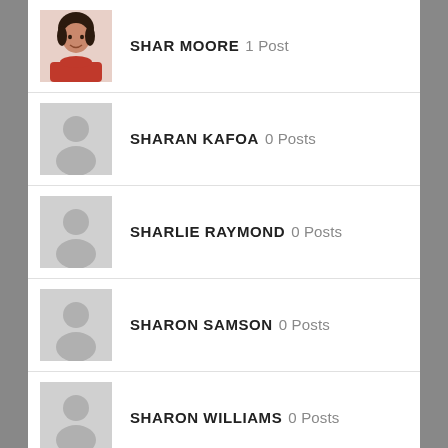SHAR MOORE 1 Post
SHARAN KAFOA 0 Posts
SHARLIE RAYMOND 0 Posts
SHARON SAMSON 0 Posts
SHARON WILLIAMS 0 Posts
SHARROLL MATHIAS 0 Posts